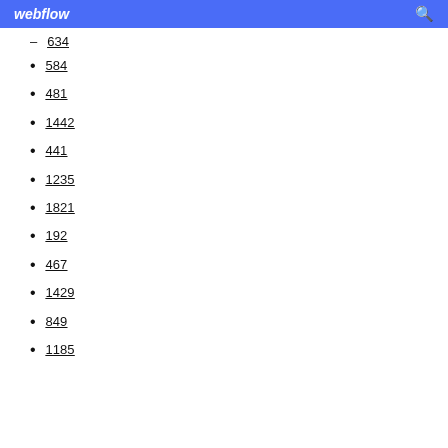webflow
634
584
481
1442
441
1235
1821
192
467
1429
849
1185